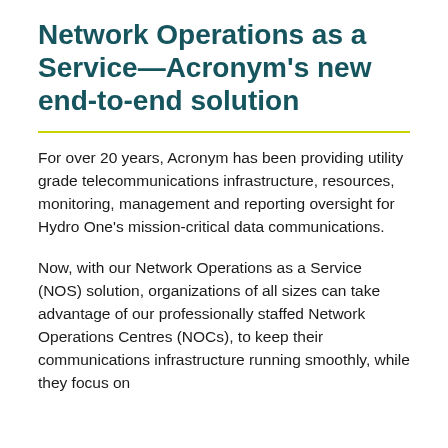Network Operations as a Service—Acronym's new end-to-end solution
For over 20 years, Acronym has been providing utility grade telecommunications infrastructure, resources, monitoring, management and reporting oversight for Hydro One's mission-critical data communications.
Now, with our Network Operations as a Service (NOS) solution, organizations of all sizes can take advantage of our professionally staffed Network Operations Centres (NOCs), to keep their communications infrastructure running smoothly, while they focus on